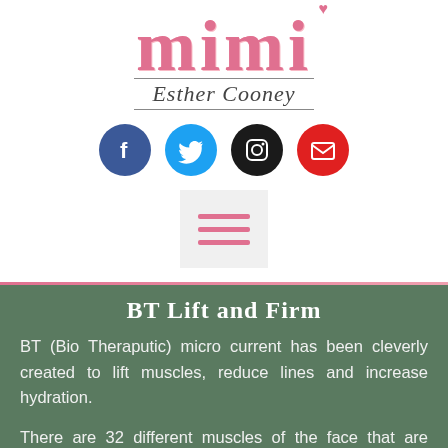[Figure (logo): Mimi Esther Cooney logo with pink decorative lettering and heart icon, plus social media icons (Facebook, Twitter, Instagram, Email) and a hamburger menu button]
BT Lift and Firm
BT (Bio Theraputic) micro current has been cleverly created to lift muscles, reduce lines and increase hydration.
There are 32 different muscles of the face that are manipulated during the microcurrent facial treatment. Probes are used to